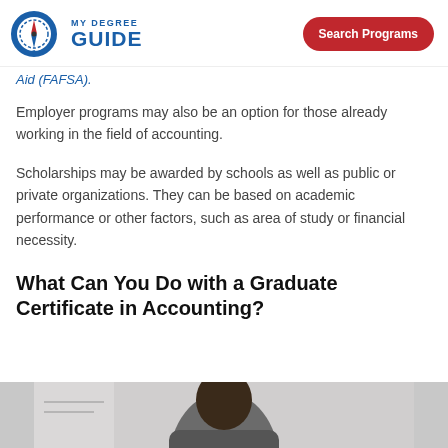MY DEGREE GUIDE | Search Programs
Aid (FAFSA).
Employer programs may also be an option for those already working in the field of accounting.
Scholarships may be awarded by schools as well as public or private organizations. They can be based on academic performance or other factors, such as area of study or financial necessity.
What Can You Do with a Graduate Certificate in Accounting?
[Figure (photo): A person photographed from above, appearing to be at a desk or work area.]